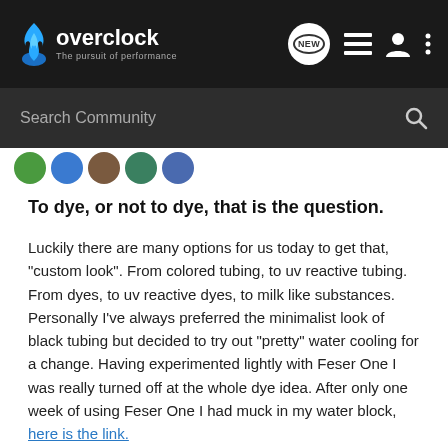overclock — The pursuit of performance
Search Community
[Figure (illustration): Row of user avatar circles in green, blue, brown, teal, and purple tones]
To dye, or not to dye, that is the question.
Luckily there are many options for us today to get that, "custom look". From colored tubing, to uv reactive tubing. From dyes, to uv reactive dyes, to milk like substances. Personally I've always preferred the minimalist look of black tubing but decided to try out "pretty" water cooling for a change. Having experimented lightly with Feser One I was really turned off at the whole dye idea. After only one week of using Feser One I had muck in my water block, here is the link.
Not too long after the Feser disaster I found Mayhems Dye. A Pure Dye without any of the additives that clog up your loop. So